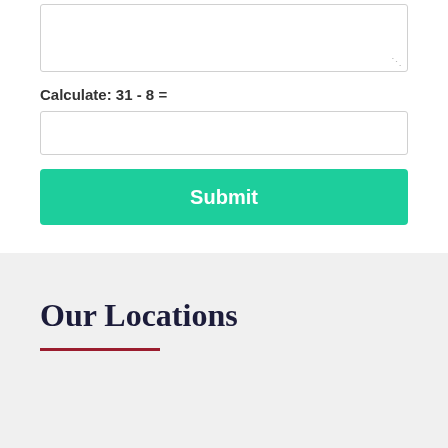[Figure (screenshot): A textarea input field with resize handle in bottom-right corner, shown partially at top of white form section]
Calculate: 31 - 8 =
[Figure (screenshot): A text input box for entering the calculation answer]
Submit
Our Locations